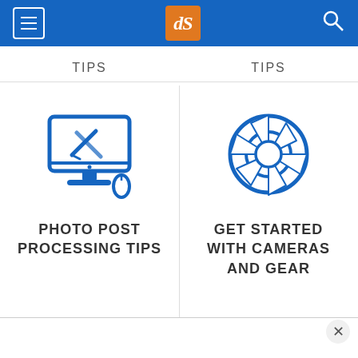[Figure (screenshot): Navigation bar with hamburger menu, dPS logo in orange box, and search icon on blue background]
TIPS
TIPS
[Figure (illustration): Blue icon of a desktop computer monitor with a pencil/edit symbol and mouse]
[Figure (illustration): Blue icon of a camera aperture/shutter]
PHOTO POST PROCESSING TIPS
GET STARTED WITH CAMERAS AND GEAR